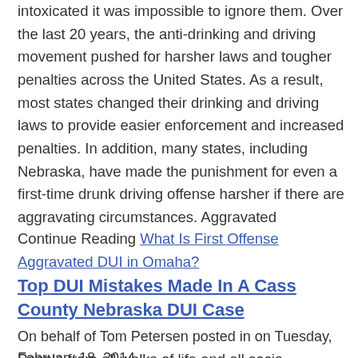intoxicated it was impossible to ignore them. Over the last 20 years, the anti-drinking and driving movement pushed for harsher laws and tougher penalties across the United States. As a result, most states changed their drinking and driving laws to provide easier enforcement and increased penalties. In addition, many states, including Nebraska, have made the punishment for even a first-time drunk driving offense harsher if there are aggravating circumstances. Aggravated
Continue Reading What Is First Offense Aggravated DUI in Omaha?
Top DUI Mistakes Made In A Cass County Nebraska DUI Case
On behalf of Tom Petersen posted in on Tuesday, February 18, 2014
People from all walks of life and all socio-economic groups find